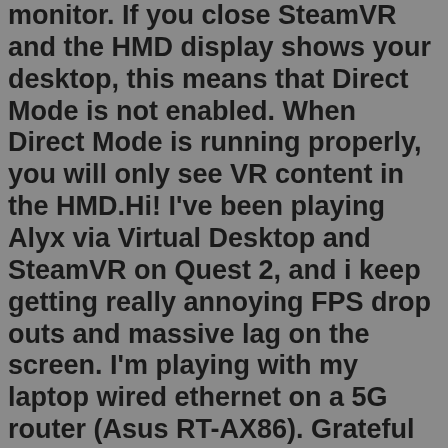monitor. If you close SteamVR and the HMD display shows your desktop, this means that Direct Mode is not enabled. When Direct Mode is running properly, you will only see VR content in the HMD.Hi! I've been playing Alyx via Virtual Desktop and SteamVR on Quest 2, and i keep getting really annoying FPS drop outs and massive lag on the screen. I'm playing with my laptop wired ethernet on a 5G router (Asus RT-AX86). Grateful for any help at all please!! Specs: GeForce RTX 2070 Super, i7 9750h@ 2.6GHz, 16gb RAM.Using SteamVR through Oculus Link with a cable seems to be fine, it's just when I try to do it wirelessly that it gets all stuttery and get a bunch of reprojected frames happening (despite my frametimes being in the 9-10ms range). I've also tried with ALVR and it's actually even worse in ALVR.The creator of virtual desktop says that onboard wifi is not as good as a router, even if it's wifi 6 etc. Basically a router is designed to be a hub of sending and returning, it's a specialist piece of equipment, that onboard wifi etc cannot replicate. ... But it runs absolutely gorgeous